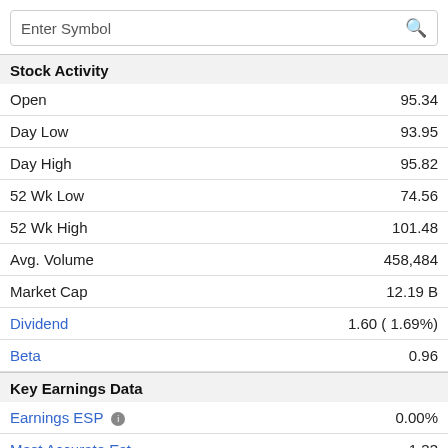Enter Symbol
Stock Activity
| Label | Value |
| --- | --- |
| Open | 95.34 |
| Day Low | 93.95 |
| Day High | 95.82 |
| 52 Wk Low | 74.56 |
| 52 Wk High | 101.48 |
| Avg. Volume | 458,484 |
| Market Cap | 12.19 B |
| Dividend | 1.60 ( 1.69%) |
| Beta | 0.96 |
Key Earnings Data
| Label | Value |
| --- | --- |
| Earnings ESP | 0.00% |
| Most Accurate Est | 1.33 |
| Current Qtr Est | 1.33 |